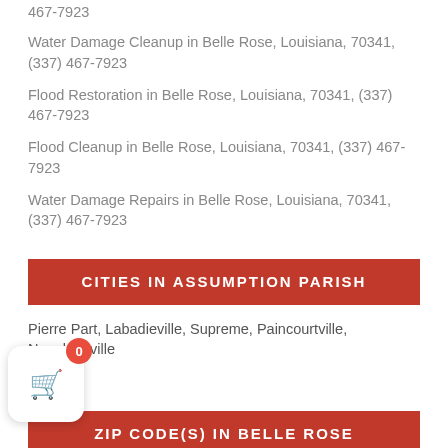467-7923
Water Damage Cleanup in Belle Rose, Louisiana, 70341, (337) 467-7923
Flood Restoration in Belle Rose, Louisiana, 70341, (337) 467-7923
Flood Cleanup in Belle Rose, Louisiana, 70341, (337) 467-7923
Water Damage Repairs in Belle Rose, Louisiana, 70341, (337) 467-7923
CITIES IN ASSUMPTION PARISH
Pierre Part, Labadieville, Supreme, Paincourtville, Napoleonville
ZIP CODE(S) IN BELLE ROSE
70341